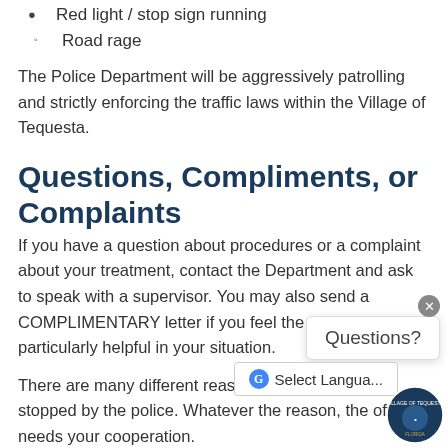Red light / stop sign running
Road rage
The Police Department will be aggressively patrolling and strictly enforcing the traffic laws within the Village of Tequesta.
Questions, Compliments, or Complaints
If you have a question about procedures or a complaint about your treatment, contact the Department and ask to speak with a supervisor. You may also send a COMPLIMENTARY letter if you feel the officer was particularly helpful in your situation.
There are many different reasons why you might be stopped by the police. Whatever the reason, the officer needs your cooperation.